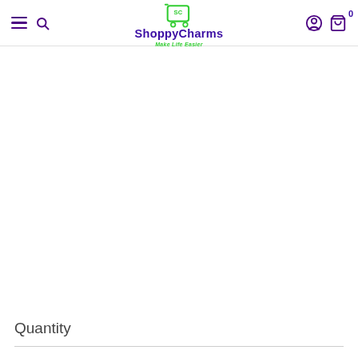ShoppyCharms — Make Life Easier
Quantity